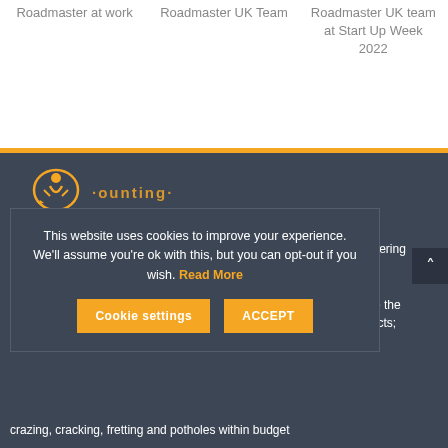Roadmaster at work
Roadmaster UK Team
Roadmaster UK team at Start Up Week 2022
[Figure (illustration): Roadmaster logo/icon — a circular graphic with orange elements on dark background, partially visible]
...ounting...
ompany offering lly sound tholes. We s which are the f road defects; crazing, cracking, fretting and potholes within budget
This website uses cookies to improve your experience. We'll assume you're ok with this, but you can opt-out if you wish. Read More
Cookie settings
ACCEPT